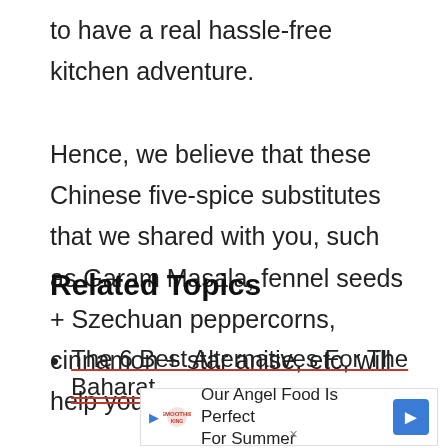to have a real hassle-free kitchen adventure. Hence, we believe that these Chinese five-spice substitutes that we shared with you, such as Garam Masala, fennel seeds + Szechuan peppercorns, cinnamon + star anise, etc, will help you to save a few dishes!
Related Topics
The 6 Best Alternatives For The Baharat
[Figure (other): Advertisement banner: 'Our Angel Food Is Perfect For Summer' with Smoothie King logo, play button, and blue arrow navigation button]